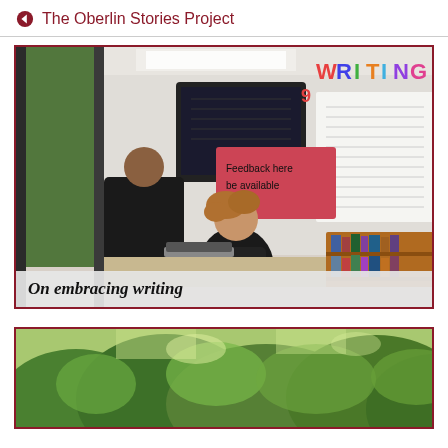The Oberlin Stories Project
[Figure (photo): Interior photo of a writing center office seen through glass. A person with curly hair sits at a desk working at a computer. A pink sign reads 'Feedback here be available'. Colorful 'WRITING' letters are visible in the background. A bookshelf with books is on the right.]
On embracing writing
[Figure (photo): Outdoor photo showing green foliage and trees, partially visible at the bottom of the page.]